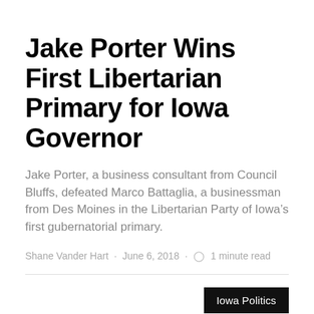Jake Porter Wins First Libertarian Primary for Iowa Governor
Jake Porter, a business consultant from Council Bluffs, defeated Marco Battaglia, a businessman from Des Moines in the Libertarian Party of Iowa’s first gubernatorial primary.
Shane Vander Hart · June 6, 2018 · ⏰ 1 minute read
Iowa Politics